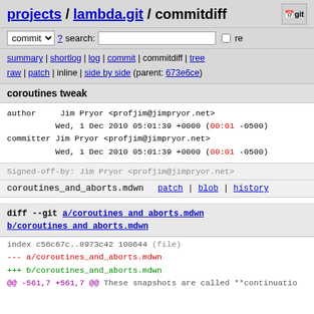projects / lambda.git / commitdiff
commit ? search: re
summary | shortlog | log | commit | commitdiff | tree
raw | patch | inline | side by side (parent: 673e6ce)
coroutines tweak
author    Jim Pryor <profjim@jimpryor.net>
          Wed, 1 Dec 2010 05:01:39 +0000 (00:01 -0500)
committer Jim Pryor <profjim@jimpryor.net>
          Wed, 1 Dec 2010 05:01:39 +0000 (00:01 -0500)
Signed-off-by: Jim Pryor <profjim@jimpryor.net>
coroutines_and_aborts.mdwn    patch | blob | history
diff --git a/coroutines and aborts.mdwn b/coroutines and aborts.mdwn
index c56c67c..8973c42 100644 (file)
--- a/coroutines_and_aborts.mdwn
+++ b/coroutines_and_aborts.mdwn
@@ -561,7 +561,7 @@ These snapshots are called **continuatio